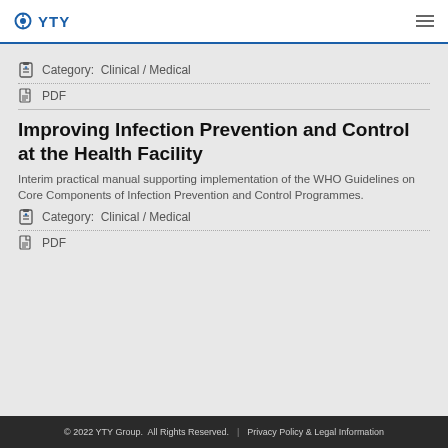YTY
Category:  Clinical / Medical
PDF
Improving Infection Prevention and Control at the Health Facility
Interim practical manual supporting implementation of the WHO Guidelines on Core Components of Infection Prevention and Control Programmes.
Category:  Clinical / Medical
PDF
© 2022 YTY Group.  All Rights Reserved.  |  Privacy Policy & Legal Information